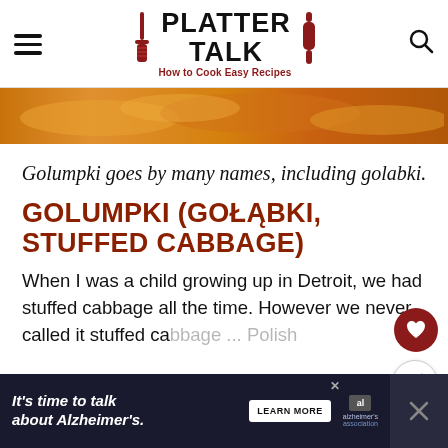PLATTER TALK — How to Cook Easy Recipes
[Figure (photo): Close-up photo of golden-orange stuffed cabbage rolls in sauce, cropped strip showing tops of the rolls]
Golumpki goes by many names, including golabki.
GOLUMPKI (GOŁĄBKI, STUFFED CABBAGE)
When I was a child growing up in Detroit, we had stuffed cabbage all the time. However we never called it stuffed cabbage ... Polish
[Figure (infographic): Advertisement banner: It's time to talk about Alzheimer's. Learn More. Alzheimer's Association logo.]